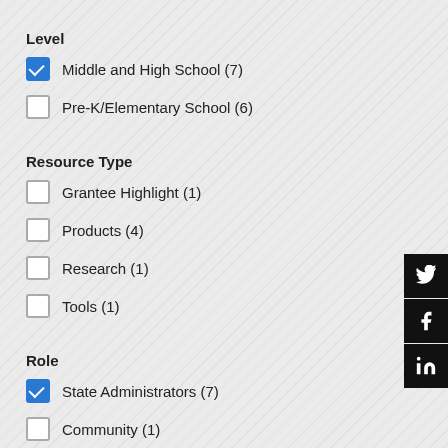Level
Middle and High School (7)
Pre-K/Elementary School (6)
Resource Type
Grantee Highlight (1)
Products (4)
Research (1)
Tools (1)
Role
State Administrators (7)
Community (1)
Family (1)
School/District Administrators (9)
School Support Staff (?)